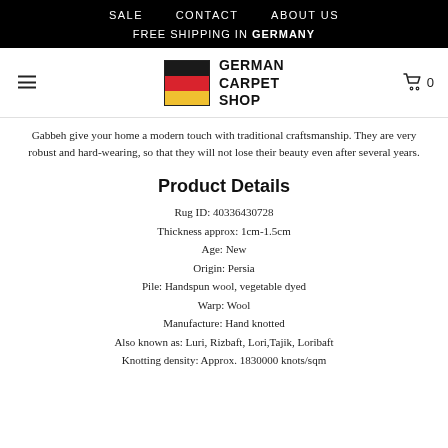SALE   CONTACT   ABOUT US
FREE SHIPPING IN GERMANY
[Figure (logo): German Carpet Shop logo with German flag colors (black, red, gold) and text GERMAN CARPET SHOP]
Gabbeh give your home a modern touch with traditional craftsmanship. They are very robust and hard-wearing, so that they will not lose their beauty even after several years.
Product Details
Rug ID: 40336430728
Thickness approx: 1cm-1.5cm
Age: New
Origin: Persia
Pile: Handspun wool, vegetable dyed
Warp: Wool
Manufacture: Hand knotted
Also known as: Luri, Rizbaft, Lori,Tajik, Loribaft
Knotting density: Approx. 1830000 knots/sqm